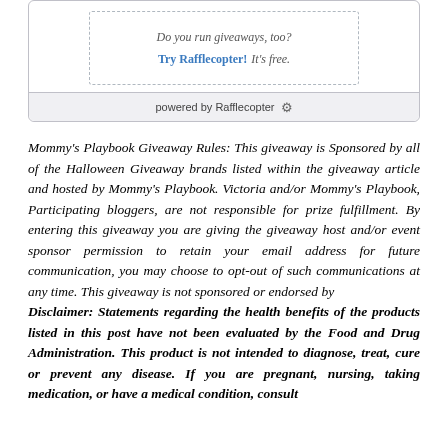[Figure (screenshot): Rafflecopter widget box showing 'Do you run giveaways, too? Try Rafflecopter! It's free.' inside a dashed border, with 'powered by Rafflecopter' footer bar.]
Mommy's Playbook Giveaway Rules: This giveaway is Sponsored by all of the Halloween Giveaway brands listed within the giveaway article and hosted by Mommy's Playbook. Victoria and/or Mommy's Playbook, Participating bloggers, are not responsible for prize fulfillment. By entering this giveaway you are giving the giveaway host and/or event sponsor permission to retain your email address for future communication, you may choose to opt-out of such communications at any time. This giveaway is not sponsored or endorsed by
Disclaimer: Statements regarding the health benefits of the products listed in this post have not been evaluated by the Food and Drug Administration. This product is not intended to diagnose, treat, cure or prevent any disease. If you are pregnant, nursing, taking medication, or have a medical condition, consult